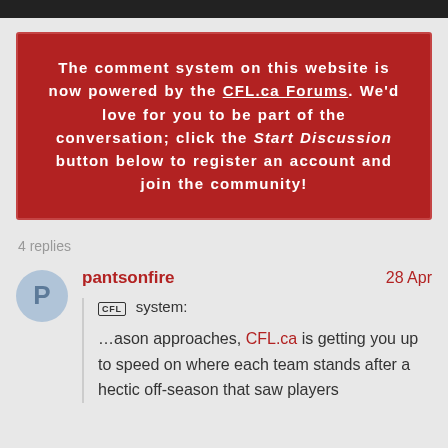The comment system on this website is now powered by the CFL.ca Forums. We'd love for you to be part of the conversation; click the Start Discussion button below to register an account and join the community!
4 replies
pantsonfire
28 Apr
CFL system:
…ason approaches, CFL.ca is getting you up to speed on where each team stands after a hectic off-season that saw players